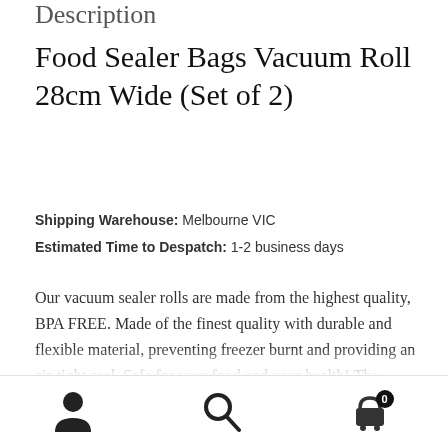Description
Food Sealer Bags Vacuum Roll 28cm Wide (Set of 2)
Shipping Warehouse: Melbourne VIC
Estimated Time to Despatch: 1-2 business days
Our vacuum sealer rolls are made from the highest quality, BPA FREE. Made of the finest quality with durable and flexible material, preventing freezer burnt and providing an air-tight seal. Safe for your food and your health! The special fine lined structure on the surface of the product are microchannels which make it possible for the sealer bags to be vacuumed.It brings you the convenience that
Navigation icons: user account, search, cart (0)